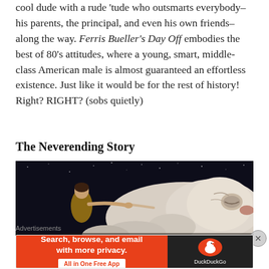cool dude with a rude 'tude who outsmarts everybody–his parents, the principal, and even his own friends–along the way. Ferris Bueller's Day Off embodies the best of 80's attitudes, where a young, smart, middle-class American male is almost guaranteed an effortless existence. Just like it would be for the rest of history! Right? RIGHT? (sobs quietly)
The Neverending Story
[Figure (photo): Movie still from The Neverending Story showing a child character reaching out to touch a large white dragon-like creature (Falkor) against a dark background.]
Advertisements
[Figure (screenshot): DuckDuckGo advertisement banner: orange left side reading 'Search, browse, and email with more privacy. All in One Free App', black right side with DuckDuckGo logo and duck icon.]